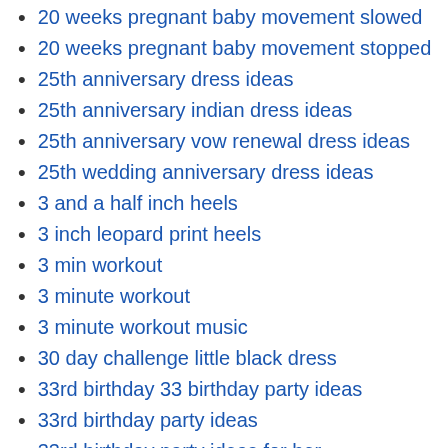20 weeks pregnant baby movement slowed
20 weeks pregnant baby movement stopped
25th anniversary dress ideas
25th anniversary indian dress ideas
25th anniversary vow renewal dress ideas
25th wedding anniversary dress ideas
3 and a half inch heels
3 inch leopard print heels
3 min workout
3 minute workout
3 minute workout music
30 day challenge little black dress
33rd birthday 33 birthday party ideas
33rd birthday party ideas
33rd birthday party ideas for her